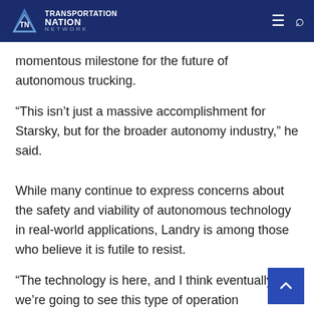Transportation Nation Network
momentous milestone for the future of autonomous trucking.
“This isn’t just a massive accomplishment for Starsky, but for the broader autonomy industry,” he said.
While many continue to express concerns about the safety and viability of autonomous technology in real-world applications, Landry is among those who believe it is futile to resist.
“The technology is here, and I think eventually we’re going to see this type of operation throughout our